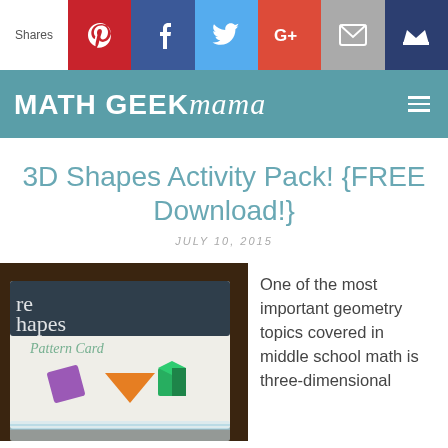Shares | Pinterest | Facebook | Twitter | G+ | Email | Crown
MATH GEEK mama
3D Shapes Activity Pack! {FREE Download!}
JULY 10, 2015
[Figure (photo): Photo of 3D shapes pattern cards on a dark wooden surface, showing colorful 3D shape illustrations including a purple rhombus, orange pyramid, and green cube, with text reading 'shapes' and 'Pattern Card']
One of the most important geometry topics covered in middle school math is three-dimensional